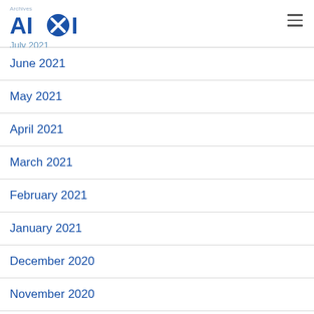Archives – AIXI | July 2021
July 2021
June 2021
May 2021
April 2021
March 2021
February 2021
January 2021
December 2020
November 2020
October 2020